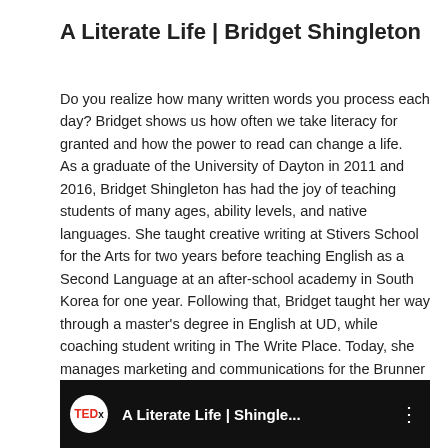A Literate Life | Bridget Shingleton
Do you realize how many written words you process each day? Bridget shows us how often we take literacy for granted and how the power to read can change a life.
As a graduate of the University of Dayton in 2011 and 2016, Bridget Shingleton has had the joy of teaching students of many ages, ability levels, and native languages. She taught creative writing at Stivers School for the Arts for two years before teaching English as a Second Language at an after-school academy in South Korea for one year. Following that, Bridget taught her way through a master's degree in English at UD, while coaching student writing in The Write Place. Today, she manages marketing and communications for the Brunner Literacy Center. Bridget believes in literacy's power to improve lives.
[Figure (screenshot): TEDx video thumbnail with black background showing TEDx logo (red circle with white TEDx text) and video title 'A Literate Life | Shingle...' with three-dot menu icon on the right]